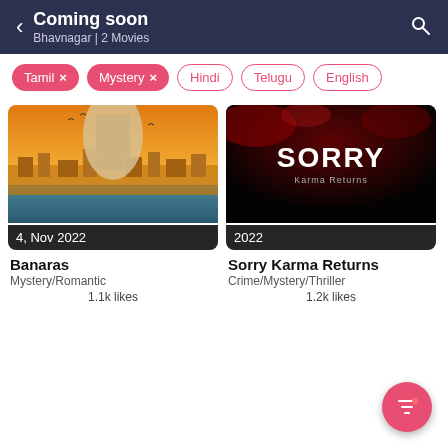Coming soon
Bhavnagar | 2 Movies
Tamil ×
Mystery ×
Hindi
Telugu
English
[Figure (photo): Movie poster for Banaras showing a golden-sky epic scene with a massive structure over an ancient riverside city. Date shown: 4, Nov 2022]
[Figure (photo): Movie poster for Sorry Karma Returns with dark black background, large white SORRY text, red atmospheric elements, and subtitle 'Karma Returns'. Date shown: 2022]
Banaras
Mystery/Romantic
1.1k likes
Sorry Karma Returns
Crime/Mystery/Thriller
1.2k likes